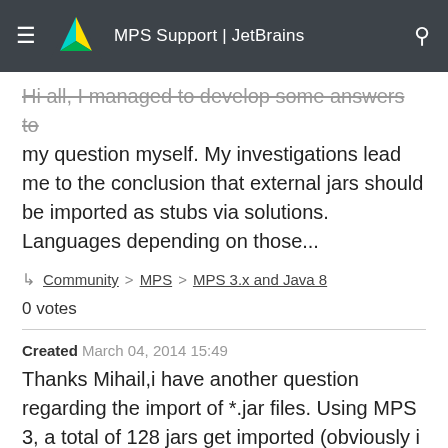MPS Support | JetBrains
Hi all, I managed to develop some answers to my question myself. My investigations lead me to the conclusion that external jars should be imported as stubs via solutions. Languages depending on those...
Community > MPS > MPS 3.x and Java 8
0 votes
Created March 04, 2014 15:49
Thanks Mihail,i have another question regarding the import of *.jar files. Using MPS 3, a total of 128 jars get imported (obviously i have some dependency on